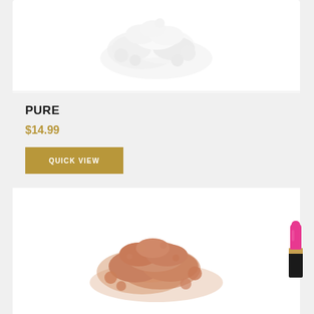[Figure (photo): White loose powder cosmetic product scattered on white background]
PURE
$14.99
QUICK VIEW
[Figure (photo): Peach/pink loose powder cosmetic product scattered on white background, with a pink lipstick visible on the right edge]